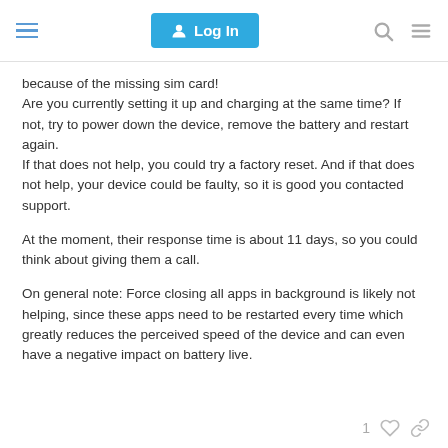Log In
because of the missing sim card!
Are you currently setting it up and charging at the same time? If not, try to power down the device, remove the battery and restart again.
If that does not help, you could try a factory reset. And if that does not help, your device could be faulty, so it is good you contacted support.
At the moment, their response time is about 11 days, so you could think about giving them a call.
On general note: Force closing all apps in background is likely not helping, since these apps need to be restarted every time which greatly reduces the perceived speed of the device and can even have a negative impact on battery live.
1